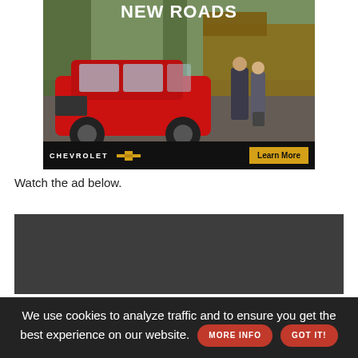[Figure (photo): Chevrolet advertisement showing a red SUV (Equinox) in front of a house with two people standing nearby. Text reads 'NEW ROADS' at top. Bottom bar shows Chevrolet logo and 'Learn More' button.]
Watch the ad below.
[Figure (screenshot): Dark gray video player placeholder rectangle]
We use cookies to analyze traffic and to ensure you get the best experience on our website. MORE INFO GOT IT!